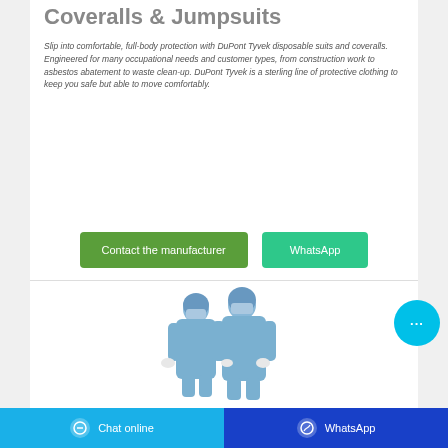Coveralls & Jumpsuits
Slip into comfortable, full-body protection with DuPont Tyvek disposable suits and coveralls. Engineered for many occupational needs and customer types, from construction work to asbestos abatement to waste clean-up. DuPont Tyvek is a sterling line of protective clothing to keep you safe but able to move comfortably.
[Figure (other): Two green buttons side by side: 'Contact the manufacturer' (dark green) and 'WhatsApp' (teal/green)]
[Figure (photo): Two people wearing full blue coveralls/jumpsuits with hoods and face masks, standing side by side]
[Figure (other): Circular cyan chat bubble button with three dots, floating on right side]
Chat online   WhatsApp